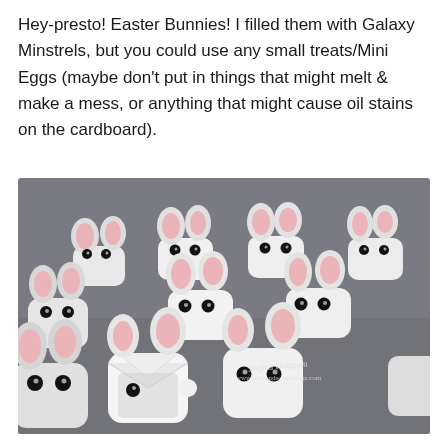Hey-presto! Easter Bunnies! I filled them with Galaxy Minstrels, but you could use any small treats/Mini Eggs (maybe don't put in things that might melt & make a mess, or anything that might cause oil stains on the cardboard).
[Figure (photo): A collection of handmade white paper/cardboard Easter bunny boxes shaped like cute mice/bunnies, with pink inner ears, black googly eyes, and white pompom tails. They are arranged on a grey surface. Some are open showing their interior. A watermark reads 'Sophia Hedgson www.mintandsomethings.com'.]